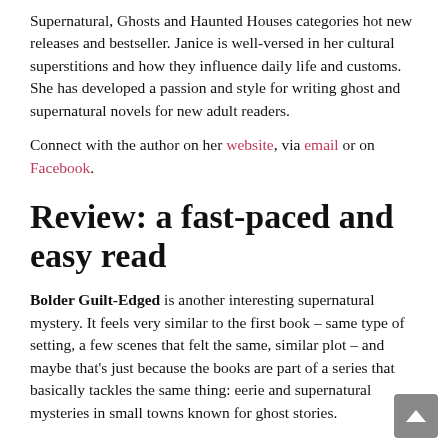Supernatural, Ghosts and Haunted Houses categories hot new releases and bestseller. Janice is well-versed in her cultural superstitions and how they influence daily life and customs. She has developed a passion and style for writing ghost and supernatural novels for new adult readers.
Connect with the author on her website, via email or on Facebook.
Review: a fast-paced and easy read
Bolder Guilt-Edged is another interesting supernatural mystery. It feels very similar to the first book – same type of setting, a few scenes that felt the same, similar plot – and maybe that's just because the books are part of a series that basically tackles the same thing: eerie and supernatural mysteries in small towns known for ghost stories.